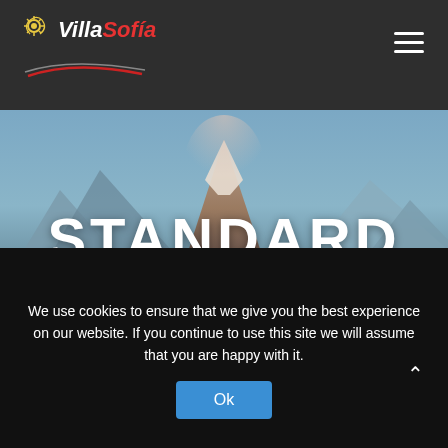[Figure (logo): Villa Sofia logo with sun/swirl icon and stylized script text, red and white on dark background, with a decorative swoosh element below]
[Figure (other): Hamburger menu icon (three horizontal white lines) in top right corner]
[Figure (photo): Hero image of a mountain landscape with snow-capped peaks reflected in a lake, with misty atmospheric lighting. Overlay text reads STANDARD BLOG in large white uppercase letters.]
STANDARD BLOG
We use cookies to ensure that we give you the best experience on our website. If you continue to use this site we will assume that you are happy with it.